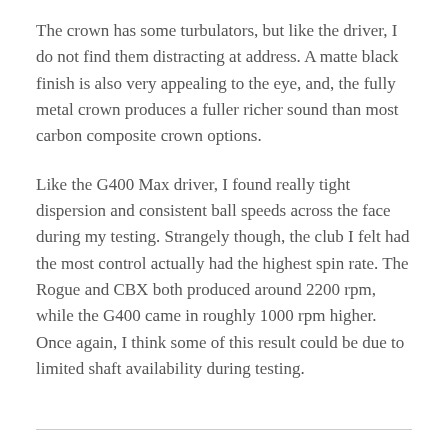The crown has some turbulators, but like the driver, I do not find them distracting at address. A matte black finish is also very appealing to the eye, and, the fully metal crown produces a fuller richer sound than most carbon composite crown options.
Like the G400 Max driver, I found really tight dispersion and consistent ball speeds across the face during my testing. Strangely though, the club I felt had the most control actually had the highest spin rate. The Rogue and CBX both produced around 2200 rpm, while the G400 came in roughly 1000 rpm higher. Once again, I think some of this result could be due to limited shaft availability during testing.